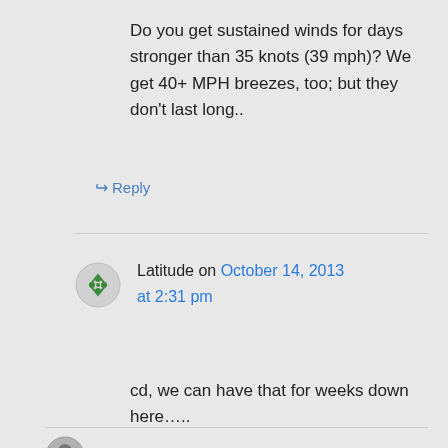Do you get sustained winds for days stronger than 35 knots (39 mph)? We get 40+ MPH breezes, too; but they don't last long..
↪ Reply
Latitude on October 14, 2013 at 2:31 pm
cd, we can have that for weeks down here…..
suyts on October 14, 2013 at 1:27 pm